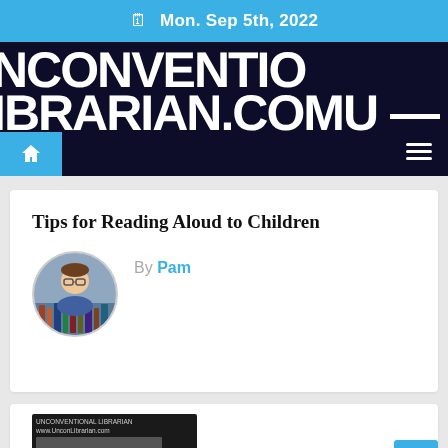Mon. Sep 5th, 2022
[Figure (screenshot): Dark navy background with large white bold uppercase text showing partial website name: NCONVEN... on first line, IBRARIAN.COMU... on second line]
[Figure (infographic): Navigation bar with blue home icon button on left and white hamburger menu icon on right, dark navy background]
Tips for Reading Aloud to Children
By Pam
[Figure (photo): Circular avatar photo of author Pam, showing a person with glasses in front of bookshelves]
[Figure (screenshot): Partial view of a second article card showing a dark image at the bottom of the page]